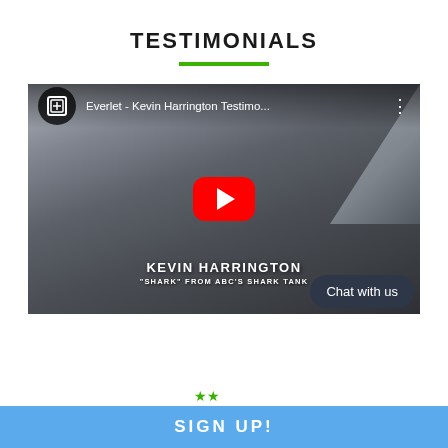TESTIMONIALS
[Figure (screenshot): YouTube video thumbnail showing Kevin Harrington, 'Shark' from ABC's Shark Tank, with the video title 'Everlet - Kevin Harrington Testimo...' and a red play button overlay]
Chat with us
SIGN UP!